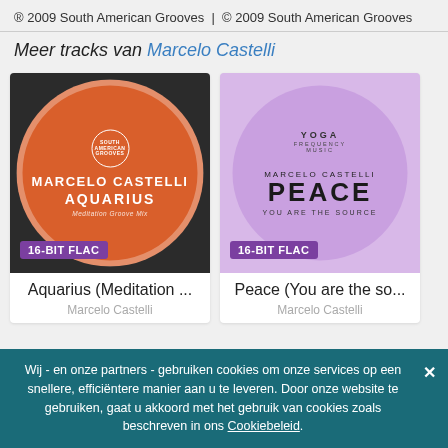® 2009 South American Grooves  |  © 2009 South American Grooves
Meer tracks van Marcelo Castelli
[Figure (illustration): Album cover for Aquarius (Meditation Groove Mix) by Marcelo Castelli. Orange circle with South American Grooves logo, text MARCELO CASTELLI AQUARIUS Meditation Groove Mix on dark background. 16-BIT FLAC badge.]
[Figure (illustration): Album cover for Peace (You are the source) by Marcelo Castelli. Purple circle with YOGA FREQUENCY MUSIC text at top, MARCELO CASTELLI PEACE YOU ARE THE SOURCE text on lavender background. 16-BIT FLAC badge.]
Aquarius (Meditation ...
Peace (You are the so...
Marcelo Castelli
Marcelo Castelli
Wij - en onze partners - gebruiken cookies om onze services op een snellere, efficiëntere manier aan u te leveren. Door onze website te gebruiken, gaat u akkoord met het gebruik van cookies zoals beschreven in ons Cookiebeleid.